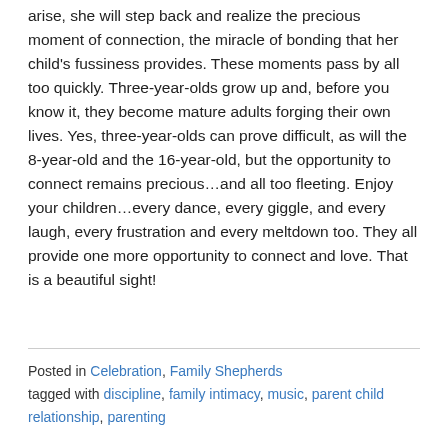arise, she will step back and realize the precious moment of connection, the miracle of bonding that her child's fussiness provides. These moments pass by all too quickly. Three-year-olds grow up and, before you know it, they become mature adults forging their own lives. Yes, three-year-olds can prove difficult, as will the 8-year-old and the 16-year-old, but the opportunity to connect remains precious…and all too fleeting. Enjoy your children…every dance, every giggle, and every laugh, every frustration and every meltdown too. They all provide one more opportunity to connect and love. That is a beautiful sight!
Posted in Celebration, Family Shepherds tagged with discipline, family intimacy, music, parent child relationship, parenting